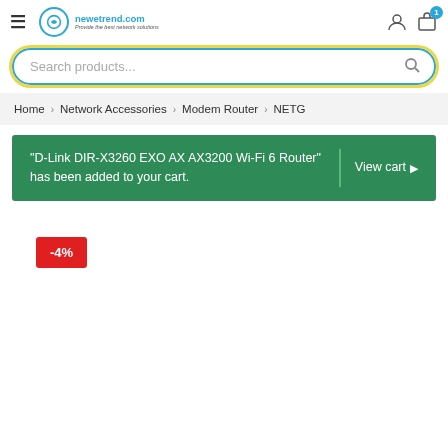newetrend.com – Provide the best network solutions | navigation header with search, user icon, cart (1)
Search products...
Home > Network Accessories > Modem Router > NETG
"D-Link DIR-X3260 EXO AX AX3200 Wi-Fi 6 Router" has been added to your cart. | View cart →
-4%